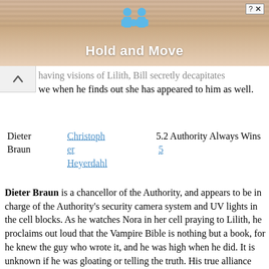[Figure (screenshot): Advertisement banner showing 'Hold and Move' game with blue cartoon figures on a striped background, with close/help buttons in top right corner]
having visions of Lilith, Bill secretly decapitates we when he finds out she has appeared to him as well.
Dieter Braun  Christopher Heyerdahl  5.2 Authority Always Wins  5
Dieter Braun is a chancellor of the Authority, and appears to be in charge of the Authority's security camera system and UV lights in the cell blocks. As he watches Nora in her cell praying to Lilith, he proclaims out loud that the Vampire Bible is nothing but a book, for he knew the guy who wrote it, and he was high when he did. It is unknown if he was gloating or telling the truth. His true alliance remains with the Authority. He is present at Russell Edgington's execution, where he witnesses Russell's escape, and Roman's brutal demise. Afterwards, when the chancellors chose to follow the path of Sanguinista, he was troubled and R...